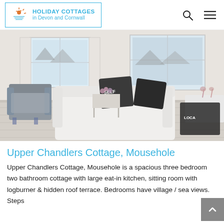HOLIDAY COTTAGES in Devon and Cornwall
[Figure (photo): Interior photo of Upper Chandlers Cottage showing a bright white living room with a large white sofa, grey armchair, wooden floor, large windows with sea views, decorative cushions, and a side table with flowers.]
Upper Chandlers Cottage, Mousehole
Upper Chandlers Cottage, Mousehole is a spacious three bedroom two bathroom cottage with large eat-in kitchen, sitting room with logburner & hidden roof terrace. Bedrooms have village / sea views. Steps